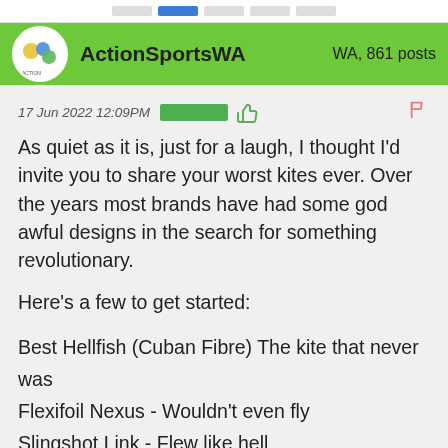ActionSportsWA — WA, 861 posts
17 Jun 2022 12:09PM
As quiet as it is, just for a laugh, I thought I'd invite you to share your worst kites ever. Over the years most brands have had some god awful designs in the search for something revolutionary.

Here's a few to get started:

Best Hellfish (Cuban Fibre) The kite that never was
Flexifoil Nexus - Wouldn't even fly
Slingshot Link - Flew like hell